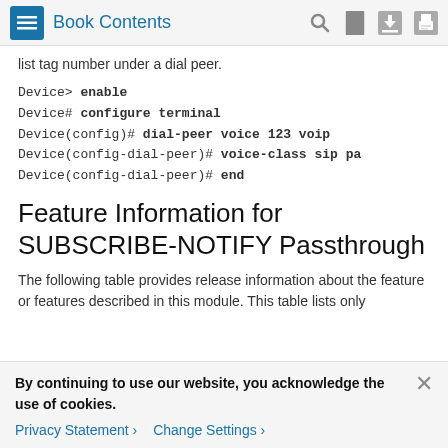Book Contents
list tag number under a dial peer.
Device> enable
Device# configure terminal
Device(config)# dial-peer voice 123 voip
Device(config-dial-peer)# voice-class sip pa
Device(config-dial-peer)# end
Feature Information for SUBSCRIBE-NOTIFY Passthrough
The following table provides release information about the feature or features described in this module. This table lists only
By continuing to use our website, you acknowledge the use of cookies.
Privacy Statement > Change Settings >